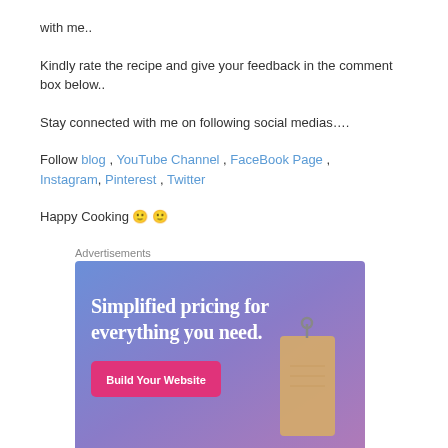with me..
Kindly rate the recipe and give your feedback in the comment box below..
Stay connected with me on following social medias….
Follow blog , YouTube Channel , FaceBook Page , Instagram, Pinterest , Twitter
Happy Cooking 🙂 🙂
Advertisements
[Figure (infographic): Advertisement banner with gradient blue-purple background showing text 'Simplified pricing for everything you need.' with a pink 'Build Your Website' button and a price tag image.]